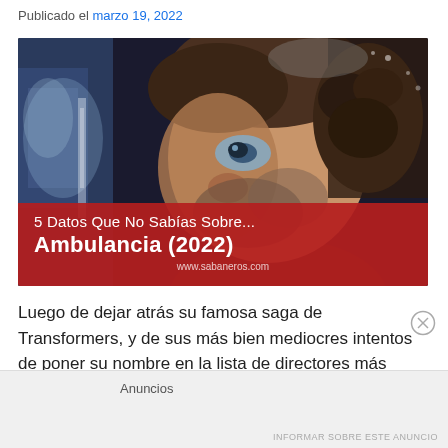Publicado el marzo 19, 2022
[Figure (photo): Movie thumbnail for '5 Datos Que No Sabías Sobre... Ambulancia (2022)' showing a man's face pressed against glass with a red banner overlay at the bottom. The banner reads '5 Datos Que No Sabías Sobre... Ambulancia (2022)' and shows the URL www.sabaneros.com]
Luego de dejar atrás su famosa saga de Transformers, y de sus más bien mediocres intentos de poner su nombre en la lista de directores más
Anuncios
INFORMAR SOBRE ESTE ANUNCIO